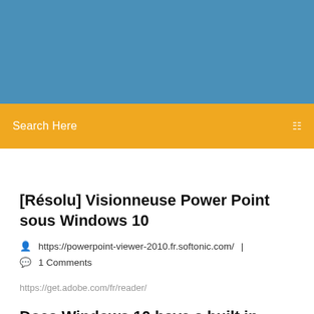[Figure (other): Blue header banner background]
Search Here
[Résolu] Visionneuse Power Point sous Windows 10
https://powerpoint-viewer-2010.fr.softonic.com/ | 1 Comments
https://get.adobe.com/fr/reader/
Does Windows 10 have a built in powerpoint viewer …